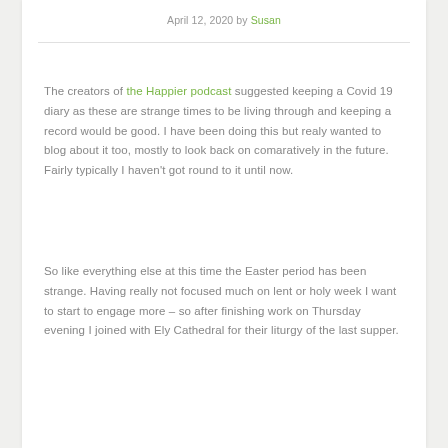April 12, 2020 by Susan
The creators of the Happier podcast suggested keeping a Covid 19 diary as these are strange times to be living through and keeping a record would be good. I have been doing this but realy wanted to blog about it too, mostly to look back on comaratively in the future. Fairly typically I haven't got round to it until now.
So like everything else at this time the Easter period has been strange. Having really not focused much on lent or holy week I want to start to engage more – so after finishing work on Thursday evening I joined with Ely Cathedral for their liturgy of the last supper.